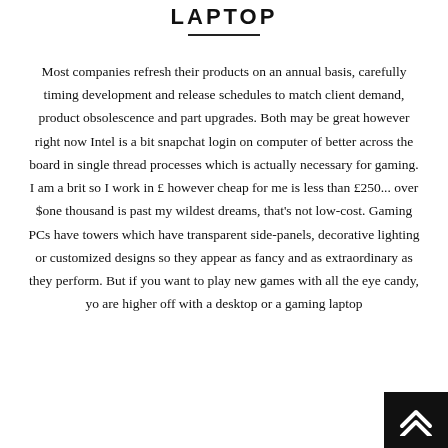LAPTOP
Most companies refresh their products on an annual basis, carefully timing development and release schedules to match client demand, product obsolescence and part upgrades. Both may be great however right now Intel is a bit snapchat login on computer of better across the board in single thread processes which is actually necessary for gaming. I am a brit so I work in £ however cheap for me is less than £250... over $one thousand is past my wildest dreams, that's not low-cost. Gaming PCs have towers which have transparent side-panels, decorative lighting or customized designs so they appear as fancy and as extraordinary as they perform. But if you want to play new games with all the eye candy, you are higher off with a desktop or a gaming laptop